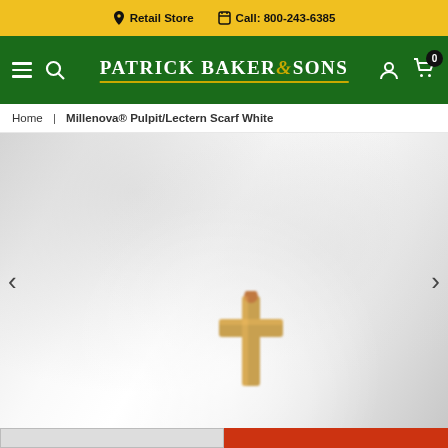Retail Store   Call: 800-243-6385
[Figure (logo): Patrick Baker & Sons logo in white text on green navigation bar with hamburger menu, search icon, user icon, and cart icon]
Home | Millenova® Pulpit/Lectern Scarf White
[Figure (photo): Product photo of Millenova Pulpit/Lectern Scarf White showing a blurred white fabric background with a gold/brass cross in the foreground center]